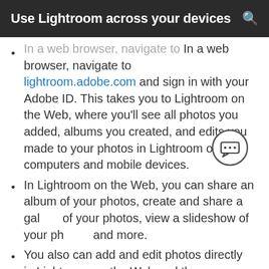Use Lightroom across your devices
In a web browser, navigate to lightroom.adobe.com and sign in with your Adobe ID. This takes you to Lightroom on the Web, where you'll see all photos you added, albums you created, and edits you made to your photos in Lightroom on your computers and mobile devices.
In Lightroom on the Web, you can share an album of your photos, create and share a gallery of your photos, view a slideshow of your photos, and more.
You also can add and edit photos directly in Lightroom on the Web and those changes